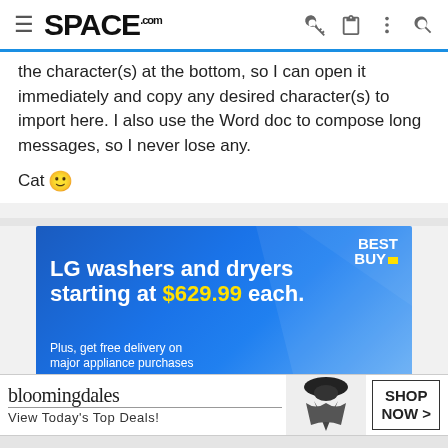SPACE.com
the character(s) at the bottom, so I can open it immediately and copy any desired character(s) to import here. I also use the Word doc to compose long messages, so I never lose any.
Cat 🙂
[Figure (other): Best Buy advertisement: LG washers and dryers starting at $629.99 each. Plus, get free delivery on major appliance purchases.]
[Figure (other): Bloomingdale's advertisement: View Today's Top Deals! SHOP NOW >]